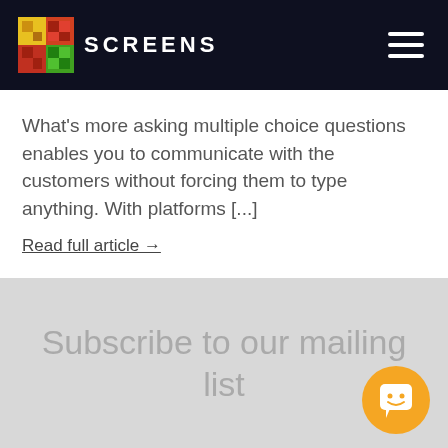SCREENS
What's more asking multiple choice questions enables you to communicate with the customers without forcing them to type anything. With platforms [...]
Read full article →
Subscribe to our mailing list